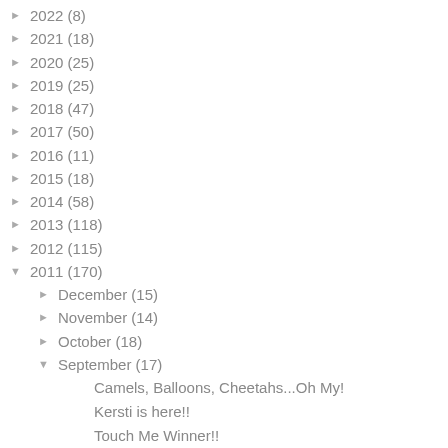► 2022 (8)
► 2021 (18)
► 2020 (25)
► 2019 (25)
► 2018 (47)
► 2017 (50)
► 2016 (11)
► 2015 (18)
► 2014 (58)
► 2013 (118)
► 2012 (115)
▼ 2011 (170)
► December (15)
► November (14)
► October (18)
▼ September (17)
Camels, Balloons, Cheetahs...Oh My!
Kersti is here!!
Touch Me Winner!!
The Truth is Out There...
FO Friday! (And a few WIP's too.)
Muench Touch Me guest blog and giveaway!
Settling in and the circle of excellence!!